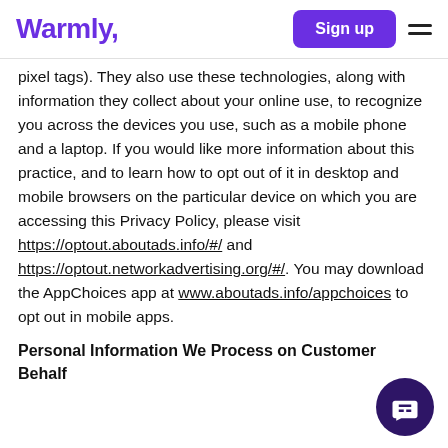Warmly,  Sign up  ☰
pixel tags). They also use these technologies, along with information they collect about your online use, to recognize you across the devices you use, such as a mobile phone and a laptop. If you would like more information about this practice, and to learn how to opt out of it in desktop and mobile browsers on the particular device on which you are accessing this Privacy Policy, please visit https://optout.aboutads.info/#/ and https://optout.networkadvertising.org/#/. You may download the AppChoices app at www.aboutads.info/appchoices to opt out in mobile apps.
Personal Information We Process on Customers' Behalf